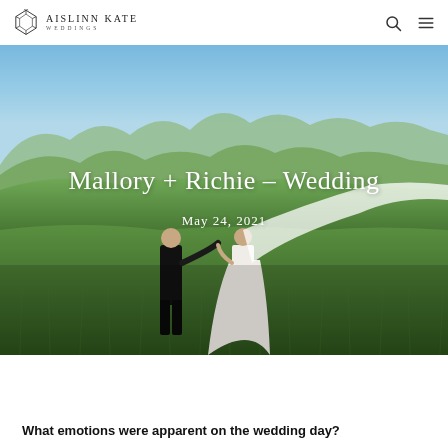AISLINN KATE WEDDINGS
[Figure (photo): Outdoor wedding photo of a couple, groom in dark suit and bride in white dress with long veil, running through a green meadow with blue sky and mountain range in the background. Text overlay reads 'Mallory + Richie – Wedding' and 'May 24, 2021'.]
Mallory + Richie – Wedding
May 24, 2021
What emotions were apparent on the wedding day?